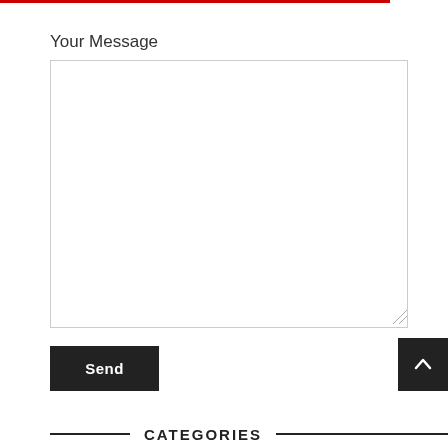Your Message
[Figure (screenshot): Empty textarea input box for user message]
Send
[Figure (other): Dark square button with upward chevron arrow for scroll to top]
CATEGORIES